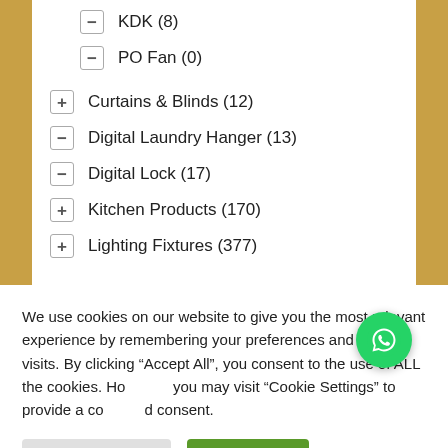KDK (8)
PO Fan (0)
Curtains & Blinds (12)
Digital Laundry Hanger (13)
Digital Lock (17)
Kitchen Products (170)
Lighting Fixtures (377)
We use cookies on our website to give you the most relevant experience by remembering your preferences and repeat visits. By clicking “Accept All”, you consent to the use of ALL the cookies. However, you may visit "Cookie Settings" to provide a controlled consent.
Cookie Settings | Accept All